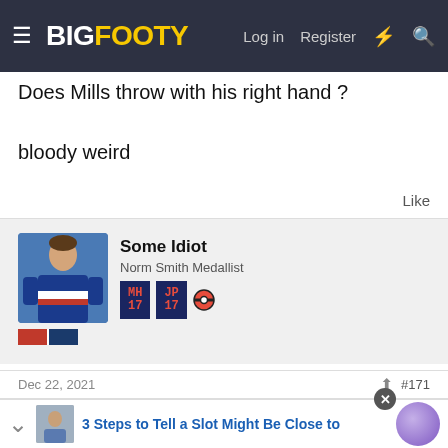BigFooty — Log in  Register
Does Mills throw with his right hand ?
bloody weird
Like
[Figure (photo): Avatar photo of a Western Bulldogs AFL player in blue and red jersey, with team stripe badge below]
Some Idiot
Norm Smith Medallist
[Figure (other): Pixel art badges: MH 17, JP 17, and a Pokeball icon]
Dec 22, 2021
#171
Just get finch on strike young Fella
3 Steps to Tell a Slot Might Be Close to